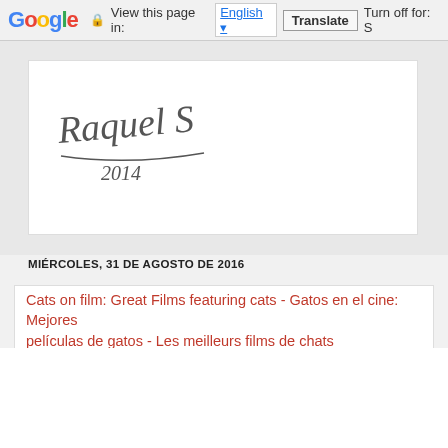Google  View this page in: English [▼]  Translate  Turn off for: S
[Figure (illustration): Handwritten signature reading 'Raquel S 2014' in cursive on a white card background]
MIÉRCOLES, 31 DE AGOSTO DE 2016
Cats on film: Great Films featuring cats - Gatos en el cine: Mejores películas de gatos - Les meilleurs films de chats
Cats on film: Great Film…
Gatos en el cine: Mejores…
Les meilleurs film…
Más de 100 películas…